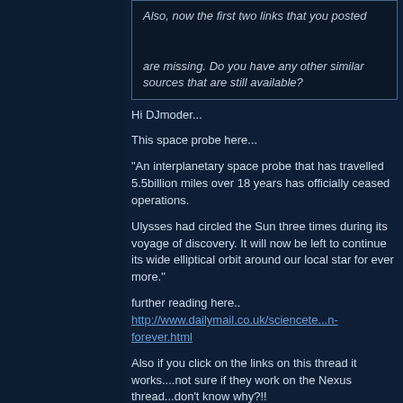Also, now the first two links that you posted

are missing. Do you have any other similar sources that are still available?
Hi DJmoder...
This space probe here...
"An interplanetary space probe that has travelled 5.5billion miles over 18 years has officially ceased operations.
Ulysses had circled the Sun three times during its voyage of discovery. It will now be left to continue its wide elliptical orbit around our local star for ever more."
further reading here..
http://www.dailymail.co.uk/sciencete...n-forever.html
Also if you click on the links on this thread it works....not sure if they work on the Nexus thread...don't know why?!!
viking
Last edited by viking; 07-01-2009 at 12:34 PM